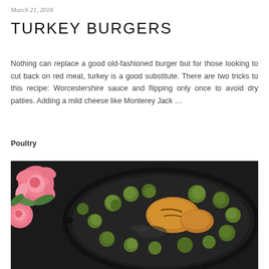March 21, 2018
TURKEY BURGERS
Nothing can replace a good old-fashioned burger but for those looking to cut back on red meat, turkey is a good substitute. There are two tricks to this recipe: Worcestershire sauce and flipping only once to avoid dry patties. Adding a mild cheese like Monterey Jack …
Poultry
[Figure (photo): Overhead shot of a cast iron skillet containing roasted chicken pieces and Brussels sprouts, with pink roses visible in the upper left corner on a dark background.]